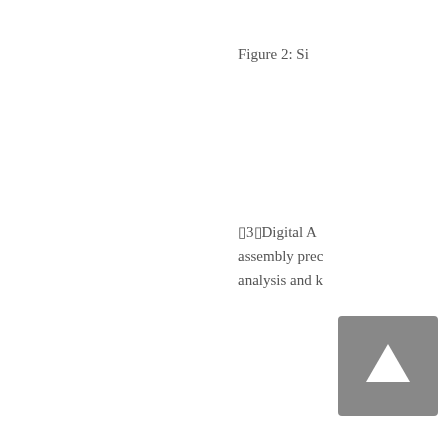Figure 2: Si
▯3▯Digital A assembly prec analysis and k
[Figure (other): A gray rectangular button or UI element with a white upward-pointing triangle/arrow in the center]